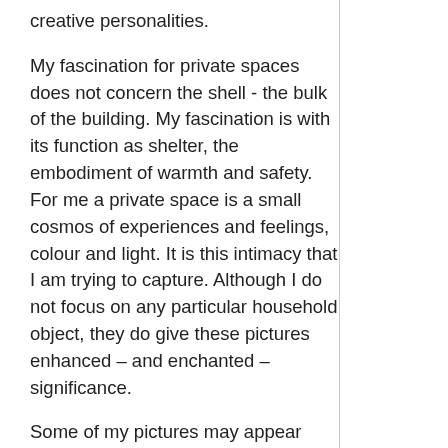creative personalities.
My fascination for private spaces does not concern the shell - the bulk of the building. My fascination is with its function as shelter, the embodiment of warmth and safety. For me a private space is a small cosmos of experiences and feelings, colour and light. It is this intimacy that I am trying to capture. Although I do not focus on any particular household object, they do give these pictures enhanced – and enchanted – significance.
Some of my pictures may appear more spatial, others more like paintings. During my time at Art School I worked in both fields, only in the end to find out that the best form in which to materialize my work was through